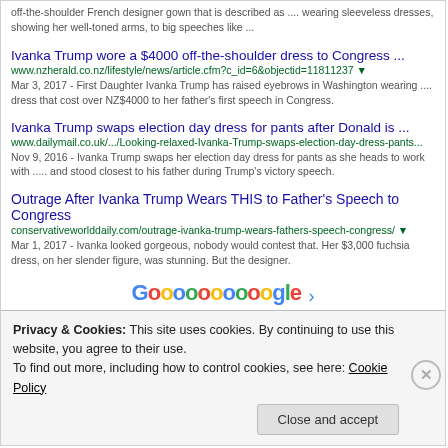off-the-shoulder French designer gown that is described as .... wearing sleeveless dresses, showing her well-toned arms, to big speeches like ...
Ivanka Trump wore a $4000 off-the-shoulder dress to Congress ...
www.nzherald.co.nz/lifestyle/news/article.cfm?c_id=6&objectid=11811237
Mar 3, 2017 - First Daughter Ivanka Trump has raised eyebrows in Washington wearing .... dress that cost over NZ$4000 to her father's first speech in Congress.
Ivanka Trump swaps election day dress for pants after Donald is ...
www.dailymail.co.uk/.../Looking-relaxed-Ivanka-Trump-swaps-election-day-dress-pants...
Nov 9, 2016 - Ivanka Trump swaps her election day dress for pants as she heads to work with ..... and stood closest to his father during Trump's victory speech.
Outrage After Ivanka Trump Wears THIS to Father's Speech to Congress
conservativeworlddaily.com/outrage-ivanka-trump-wears-fathers-speech-congress/
Mar 1, 2017 - Ivanka looked gorgeous, nobody would contest that. Her $3,000 fuchsia dress, on her slender figure, was stunning. But the designer.
[Figure (screenshot): Google pagination showing Goooooooooooogle logo with page numbers 1-10 and Next link]
Privacy & Cookies: This site uses cookies. By continuing to use this website, you agree to their use. To find out more, including how to control cookies, see here: Cookie Policy
Close and accept